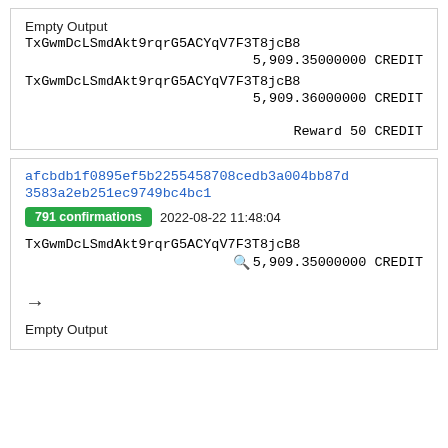Empty Output
TxGwmDcLSmdAkt9rqrG5ACYqV7F3T8jcB8
5,909.35000000 CREDIT
TxGwmDcLSmdAkt9rqrG5ACYqV7F3T8jcB8
5,909.36000000 CREDIT
Reward 50 CREDIT
afcbdb1f0895ef5b2255458708cedb3a004bb87d3583a2eb251ec9749bc4bc1
791 confirmations  2022-08-22 11:48:04
TxGwmDcLSmdAkt9rqrG5ACYqV7F3T8jcB8
5,909.35000000 CREDIT
→
Empty Output